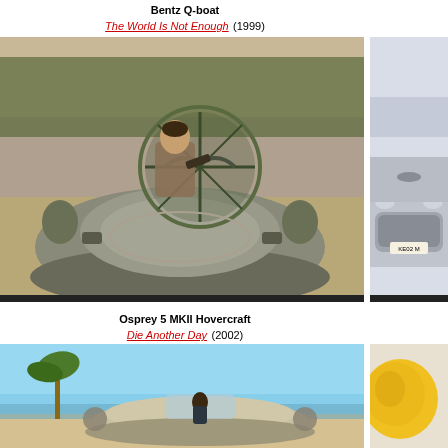Bentz Q-boat
The World Is Not Enough (1999)
[Figure (photo): Pierce Brosnan as James Bond sitting in a Bentz Q-boat hovercraft on a sandy path with trees in background, holding a gun]
[Figure (photo): Partial view of a silver Aston Martin car with license plate KE02, on what appears to be a snowy or icy surface]
Osprey 5 MKII Hovercraft
Die Another Day (2002)
[Figure (photo): An Osprey 5 MKII Hovercraft on a beach with blue sky, palm trees visible, person driving]
[Figure (photo): Partial view showing yellow object, possibly a vehicle or prop from Die Another Day]